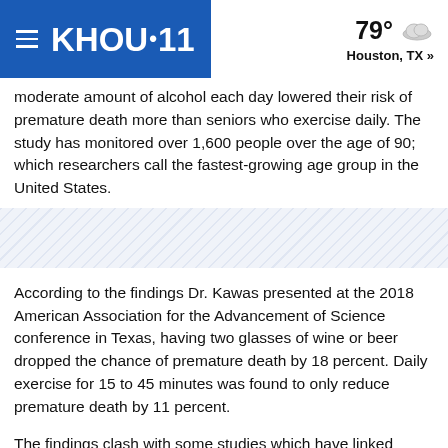KHOU 11 | 79° Houston, TX »
moderate amount of alcohol each day lowered their risk of premature death more than seniors who exercise daily. The study has monitored over 1,600 people over the age of 90; which researchers call the fastest-growing age group in the United States.
[Figure (other): Diagonal hatched stripe decorative section]
According to the findings Dr. Kawas presented at the 2018 American Association for the Advancement of Science conference in Texas, having two glasses of wine or beer dropped the chance of premature death by 18 percent. Daily exercise for 15 to 45 minutes was found to only reduce premature death by 11 percent.
The findings clash with some studies which have linked heavy drinking to high blood pressure, and even problems